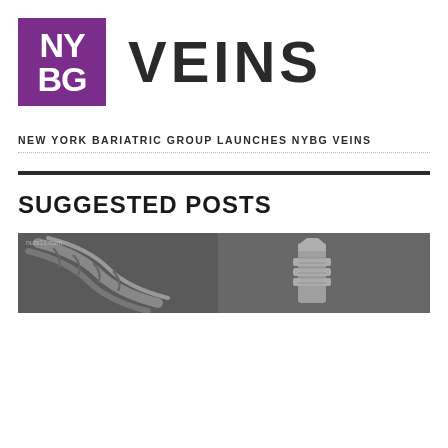[Figure (logo): NYBG Veins logo: purple square with white NY BG text, followed by bold VEINS text]
NEW YORK BARIATRIC GROUP LAUNCHES NYBG VEINS
SUGGESTED POSTS
[Figure (photo): Close-up photo of rope and metal bolt/fastener, with watermark nuts11.com]